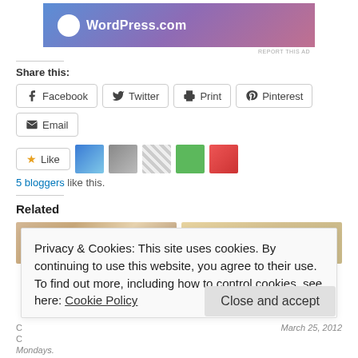[Figure (screenshot): WordPress.com advertisement banner with blue-purple-pink gradient and WordPress logo]
REPORT THIS AD
Share this:
Facebook  Twitter  Print  Pinterest  Email
Like  5 bloggers like this.
Related
[Figure (photo): Two food photos side by side, partially cropped]
Privacy & Cookies: This site uses cookies. By continuing to use this website, you agree to their use.
To find out more, including how to control cookies, see here: Cookie Policy
Close and accept
Mondays.
March 25, 2012